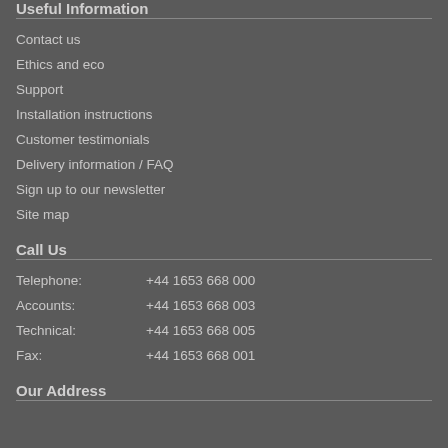Useful Information
Contact us
Ethics and eco
Support
Installation instructions
Customer testimonials
Delivery information / FAQ
Sign up to our newsletter
Site map
Call Us
| Label | Number |
| --- | --- |
| Telephone: | +44 1653 668 000 |
| Accounts: | +44 1653 668 003 |
| Technical: | +44 1653 668 005 |
| Fax: | +44 1653 668 001 |
Our Address